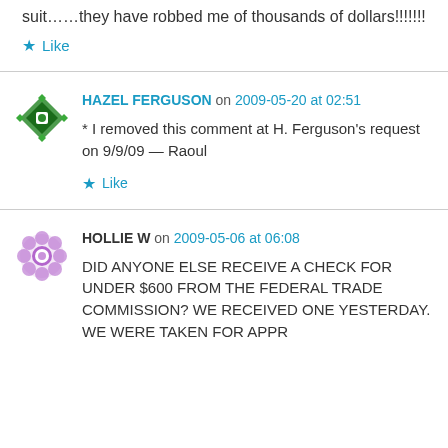suit……they have robbed me of thousands of dollars!!!!!!!
Like
HAZEL FERGUSON on 2009-05-20 at 02:51
* I removed this comment at H. Ferguson's request on 9/9/09 — Raoul
Like
HOLLIE W on 2009-05-06 at 06:08
DID ANYONE ELSE RECEIVE A CHECK FOR UNDER $600 FROM THE FEDERAL TRADE COMMISSION? WE RECEIVED ONE YESTERDAY. WE WERE TAKEN FOR APPR